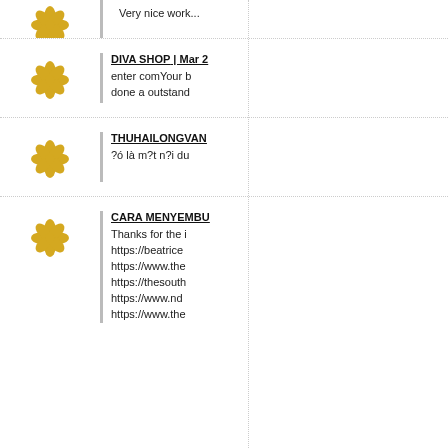Very nice work...
DIVA SHOP | Mar 2
enter comYour b
done a outstand
THUHAILONGVAN
?ó là m?t n?i du
CARA MENYEMBU
Thanks for the i
https://beatrice
https://www.the
https://thesouth
https://www.nd
https://www.the